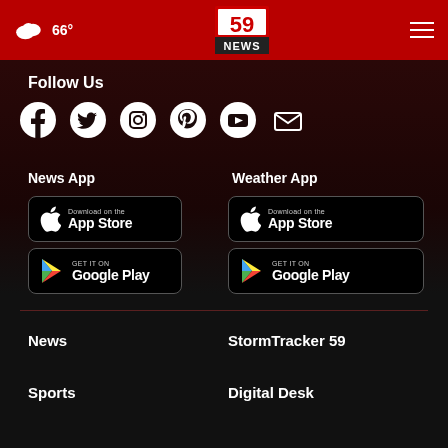66° | 59 NEWS
Follow Us
[Figure (infographic): Social media icons: Facebook, Twitter, Instagram, Pinterest, YouTube, Email]
News App
Weather App
[Figure (infographic): Download on the App Store button (News App)]
[Figure (infographic): Get it on Google Play button (News App)]
[Figure (infographic): Download on the App Store button (Weather App)]
[Figure (infographic): Get it on Google Play button (Weather App)]
News
StormTracker 59
Sports
Digital Desk